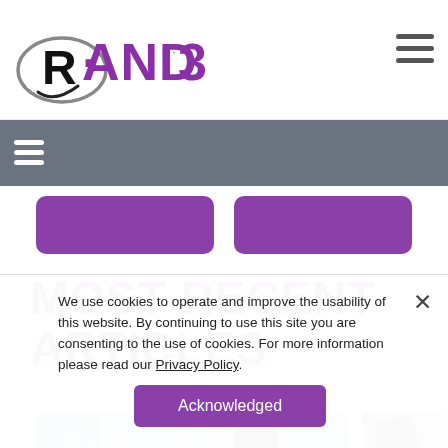[Figure (logo): RAND 3D logo — stylized R with oval and 'AND 3D' text in purple]
[Figure (other): Hamburger menu icon (three horizontal lines) top right]
[Figure (other): Gray navigation bar with hamburger menu icon on left]
[Figure (other): Two purple rounded rectangle buttons in a row]
MOST RECENT ARTICLES
[Figure (photo): Photo of a person (appears to be a woman with glasses) in an industrial/lab setting with blurred blue-gray background; second smaller image shows geometric shapes on a light tan background]
We use cookies to operate and improve the usability of this website. By continuing to use this site you are consenting to the use of cookies. For more information please read our Privacy Policy.
Acknowledged